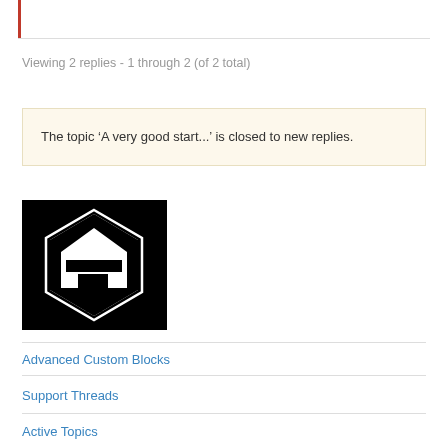Viewing 2 replies - 1 through 2 (of 2 total)
The topic ‘A very good start...’ is closed to new replies.
[Figure (logo): Black square with a white hexagon shape containing a stylized arrow/house icon and a small triangle at the bottom, resembling a plugin or software logo]
Advanced Custom Blocks
Support Threads
Active Topics